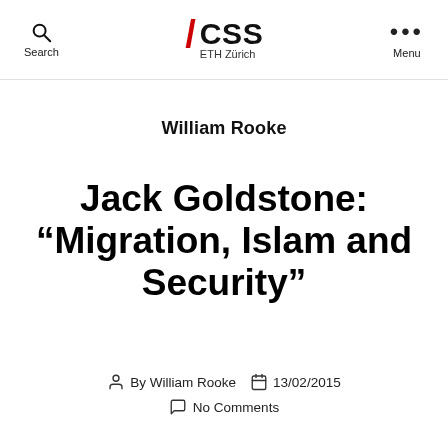Search | CSS ETH Zürich | Menu
William Rooke
Jack Goldstone: "Migration, Islam and Security"
By William Rooke  13/02/2015  No Comments